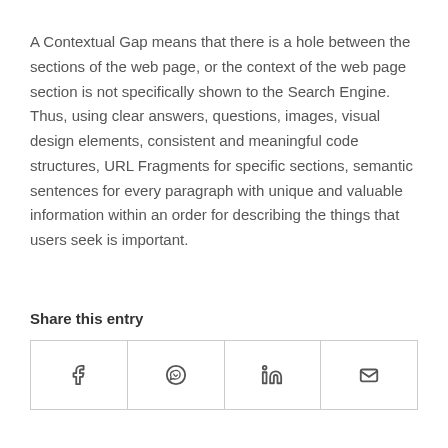A Contextual Gap means that there is a hole between the sections of the web page, or the context of the web page section is not specifically shown to the Search Engine. Thus, using clear answers, questions, images, visual design elements, consistent and meaningful code structures, URL Fragments for specific sections, semantic sentences for every paragraph with unique and valuable information within an order for describing the things that users seek is important.
Share this entry